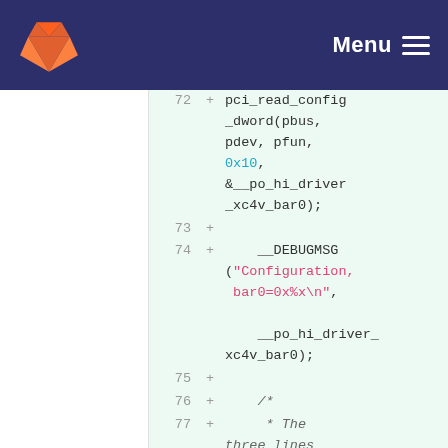GitLab — Menu
[Figure (screenshot): GitLab code diff view showing added lines 72-77 with C code for pci_read_config_dword, __DEBUGMSG, and a comment block]
72 + pci_read_config_dword(pbus, pdev, pfun, 0x10, &__po_hi_driver_xc4v_bar0);
73 +
74 +     __DEBUGMSG("Configuration, bar0=0x%x\n",
           __po_hi_driver_xc4v_bar0);
75 +
76 +     /*
77 +      * The three lines above are equivalent to